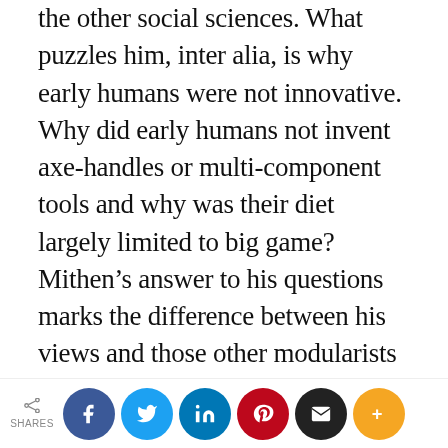the other social sciences. What puzzles him, inter alia, is why early humans were not innovative. Why did early humans not invent axe-handles or multi-component tools and why was their diet largely limited to big game? Mithen's answer to his questions marks the difference between his views and those other modularists on which he draws. He thinks that early humans had, for instance, the technology module but not having that language-based free-flowing cognitive thinking which crosses the modules they were limited in their inventiveness in improving their tools. What the modules
SHARES [social share buttons: Facebook, Twitter, LinkedIn, Pinterest, Email, More]